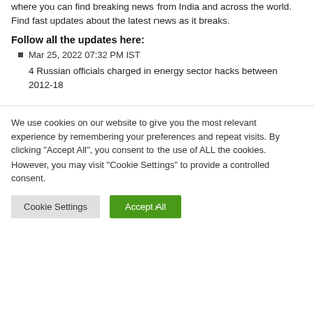where you can find breaking news from India and across the world. Find fast updates about the latest news as it breaks.
Follow all the updates here:
Mar 25, 2022 07:32 PM IST
4 Russian officials charged in energy sector hacks between 2012-18
We use cookies on our website to give you the most relevant experience by remembering your preferences and repeat visits. By clicking “Accept All”, you consent to the use of ALL the cookies. However, you may visit "Cookie Settings" to provide a controlled consent.